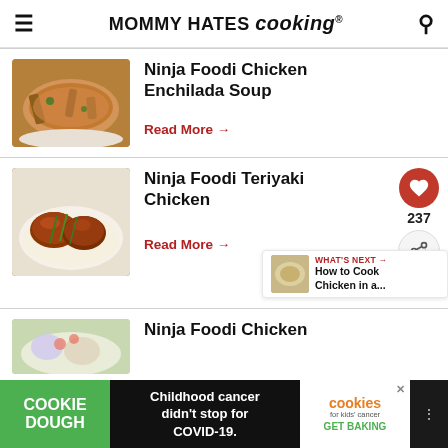MOMMY HATES cooking®
[Figure (photo): Bowl of Ninja Foodi Chicken Enchilada Soup with tortilla strips on top]
Ninja Foodi Chicken Enchilada Soup
Read More →
[Figure (photo): Ninja Foodi Teriyaki Chicken thighs with rice and green onions]
Ninja Foodi Teriyaki Chicken
Read More →
[Figure (photo): What's Next thumbnail: How to Cook Chicken in a...]
WHAT'S NEXT → How to Cook Chicken in a...
[Figure (photo): Ninja Foodi Chicken (partial, third recipe row)]
Ninja Foodi Chicken
Childhood cancer didn't stop for COVID-19. COOKIE DOUGH | cookies for kids' cancer GET BAKING